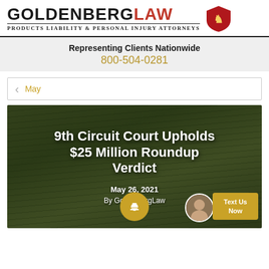GOLDENBERGLAW — PRODUCTS LIABILITY & PERSONAL INJURY ATTORNEYS
Representing Clients Nationwide
800-504-0281
May
[Figure (photo): Background photo of grass with Roundup herbicide containers. Overlaid text reads: '9th Circuit Court Upholds $25 Million Roundup Verdict', dated May 26, 2021, By GoldenbergLaw. A chat widget with an avatar and 'Text Us Now' button appears in the lower right corner.]